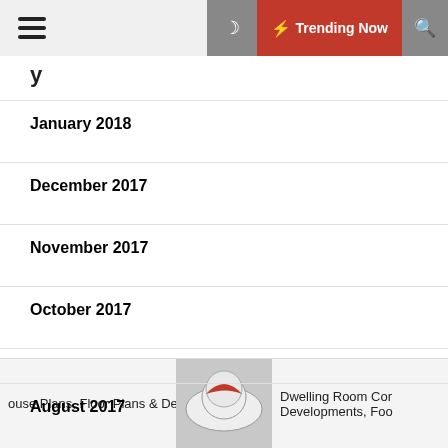Trending Now
January 2018
December 2017
November 2017
October 2017
September 2017
August 2017
July 2017
ouse Plans, Floor Plans & Designs   Dwelling Room Cor Developments, Foo